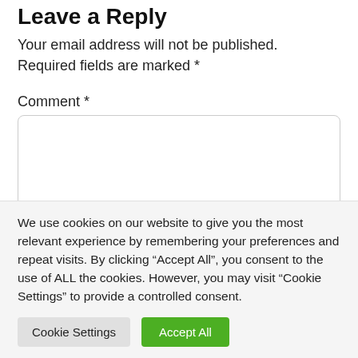Leave a Reply
Your email address will not be published. Required fields are marked *
Comment *
[Figure (other): Empty comment text area input box with rounded border]
We use cookies on our website to give you the most relevant experience by remembering your preferences and repeat visits. By clicking “Accept All”, you consent to the use of ALL the cookies. However, you may visit “Cookie Settings” to provide a controlled consent.
Cookie Settings | Accept All